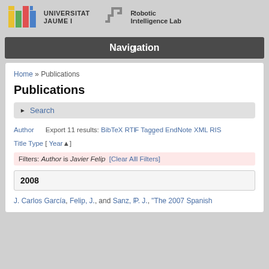[Figure (logo): Universitat Jaume I logo with colorful blocks and text, and Robotic Intelligence Lab logo with robotic arm icon]
Navigation
Home » Publications
Publications
▶ Search
Author   Export 11 results: BibTeX  RTF  Tagged  EndNote  XML  RIS
Title Type [ Year▲]
Filters: Author is Javier Felip  [Clear All Filters]
2008
J. Carlos García, Felip, J., and Sanz, P. J., "The 2007 Spanish